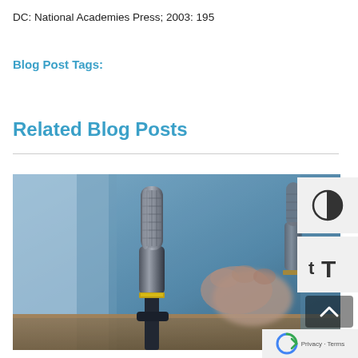DC: National Academies Press; 2003: 195
Blog Post Tags:
Related Blog Posts
[Figure (photo): Close-up photo of two studio microphones with a hand visible in the background, suggesting a podcast or interview setting. Blue-tinted color grading.]